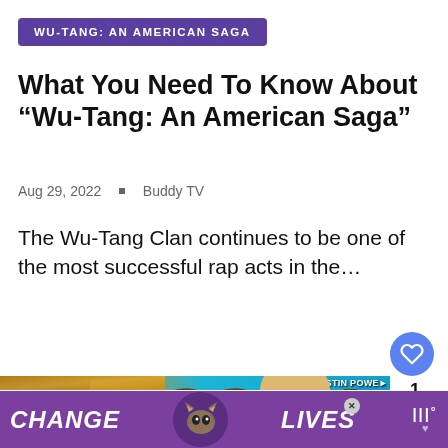WU-TANG: AN AMERICAN SAGA
What You Need To Know About “Wu-Tang: An American Saga”
Aug 29, 2022  •  Buddy TV
The Wu-Tang Clan continues to be one of the most successful rap acts in the…
[Figure (screenshot): Movie promotional image showing Austin Powers characters overlaid with 'GOLDI' text in large gold letters, with a 'What's Next' panel showing a thumbnail]
[Figure (photo): Advertisement banner with purple background showing 'CHANGE [cat] LIVES' text with a cat image in center]